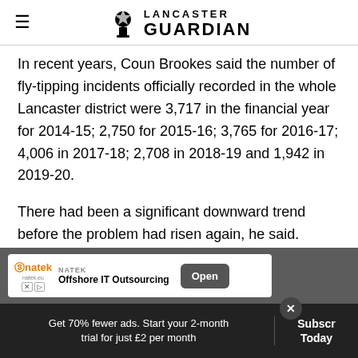Lancaster Guardian
In recent years, Coun Brookes said the number of fly-tipping incidents officially recorded in the whole Lancaster district were 3,717 in the financial year for 2014-15; 2,750 for 2015-16; 3,765 for 2016-17; 4,006 in 2017-18; 2,708 in 2018-19 and 1,942 in 2019-20.
There had been a significant downward trend before the problem had risen again, he said.
[Figure (screenshot): Advertisement banner: NATEK Offshore IT Outsourcing with Open button]
Get 70% fewer ads. Start your 2-month trial for just £2 per month
Subscribe Today